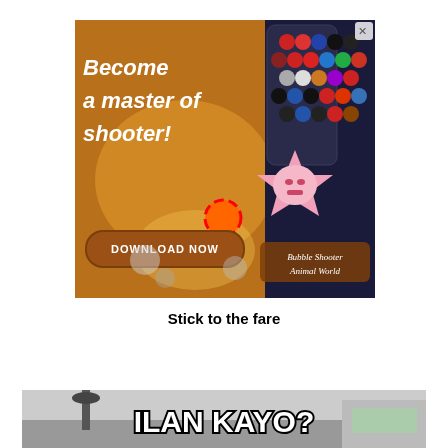[Figure (screenshot): Mobile game advertisement for 'Bubble Shooter Animal World' showing colorful bubbles, a pink star character, text 'Become a master of shooter!' and a brown 'DOWNLOAD NOW' button. Right side shows a grid of animal emoji-style bubble icons. Top right has an X close button.]
Stick to the fare
[Figure (photo): Photo of a street scene with a vehicle and overhead fixtures, with bold text overlay reading 'ILAN KAYO?' in black outlined letters.]